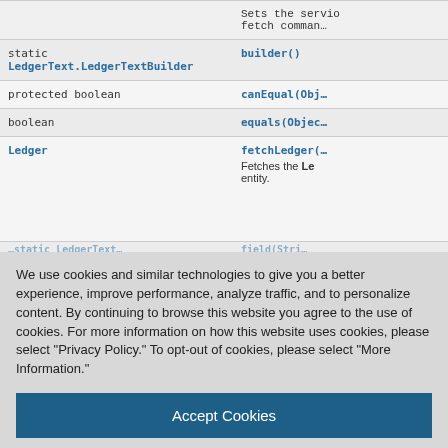| Modifier and Type | Method and Description |
| --- | --- |
| Sets the servi fetch comman… |  |
| static LedgerText.LedgerTextBuilder | builder() |
| protected boolean | canEqual(Obj… |
| boolean | equals(Objec… |
| Ledger | fetchLedger(
Fetches the Le entity. |
| …static LedgerText.LedgerTextBuilder… | field(Stri… |
We use cookies and similar technologies to give you a better experience, improve performance, analyze traffic, and to personalize content. By continuing to browse this website you agree to the use of cookies. For more information on how this website uses cookies, please select "Privacy Policy." To opt-out of cookies, please select "More Information."
Accept Cookies
More Information
Privacy Policy | Powered by: TrustArc